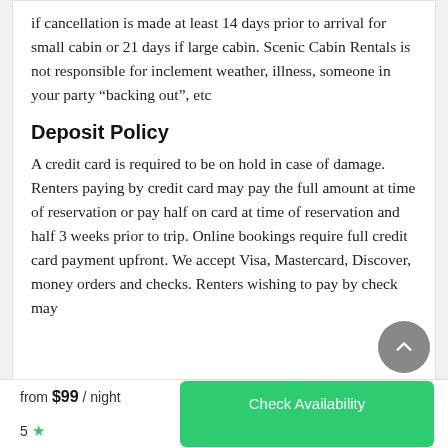if cancellation is made at least 14 days prior to arrival for small cabin or 21 days if large cabin. Scenic Cabin Rentals is not responsible for inclement weather, illness, someone in your party “backing out”, etc
Deposit Policy
A credit card is required to be on hold in case of damage. Renters paying by credit card may pay the full amount at time of reservation or pay half on card at time of reservation and half 3 weeks prior to trip. Online bookings require full credit card payment upfront. We accept Visa, Mastercard, Discover, money orders and checks. Renters wishing to pay by check may
from $99 / night  5 ★  Check Availability